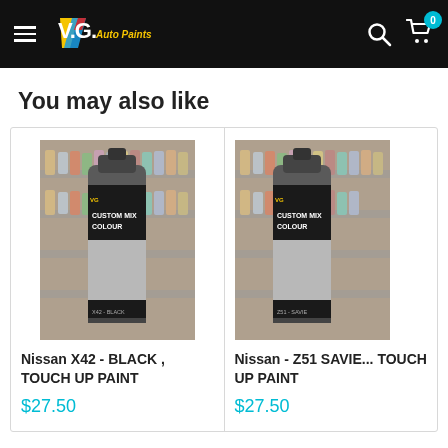V.G. Auto Paints
You may also like
[Figure (photo): Spray paint can with 'Custom Mix Colour' label, shown in a store with shelves of paint cans in background - product: Nissan X42 - BLACK, TOUCH UP PAINT]
Nissan X42 - BLACK , TOUCH UP PAINT
$27.50
[Figure (photo): Spray paint can with 'Custom Mix Colour' label, shown in a store with shelves of paint cans in background - product: Nissan - Z51 SAVIE... TOUCH UP PAINT (partially visible)]
Nissan - Z51 SAVIE... TOUCH UP PAINT
$27.50